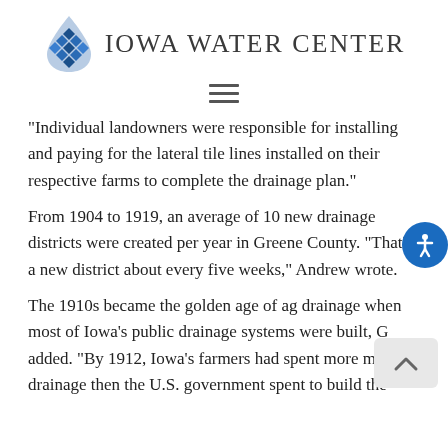[Figure (logo): Iowa Water Center logo with blue water drop icon and text 'Iowa Water Center']
"Individual landowners were responsible for installing and paying for the lateral tile lines installed on their respective farms to complete the drainage plan."
From 1904 to 1919, an average of 10 new drainage districts were created per year in Greene County. “That’s a new district about every five weeks,” Andrew wrote.
The 1910s became the golden age of ag drainage when most of Iowa’s public drainage systems were built, G added. “By 1912, Iowa’s farmers had spent more m on drainage then the U.S. government spent to build the